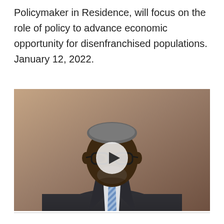Policymaker in Residence, will focus on the role of policy to advance economic opportunity for disenfranchised populations. January 12, 2022.
[Figure (photo): Portrait photo of a man in a dark suit with a blue striped tie and glasses, with a warm brown background. A circular play button overlay is centered on the image.]